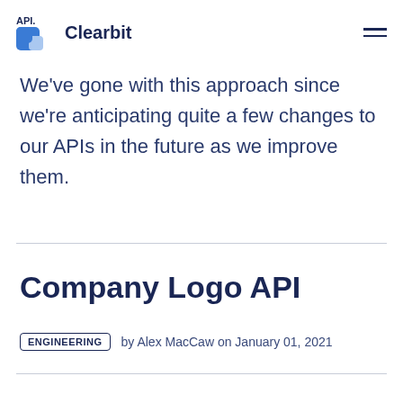API. Clearbit
We've gone with this approach since we're anticipating quite a few changes to our APIs in the future as we improve them.
Company Logo API
ENGINEERING by Alex MacCaw on January 01, 2021